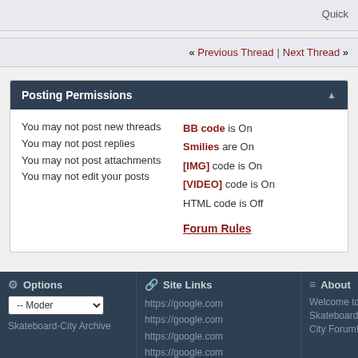Quick
« Previous Thread | Next Thread »
Posting Permissions
You may not post new threads
You may not post replies
You may not post attachments
You may not edit your posts
BB code is On
Smilies are On
[IMG] code is On
[VIDEO] code is On
HTML code is Off
Forum Rules
Options | Site Links | About — Welcome to Skateboard-City Forum!